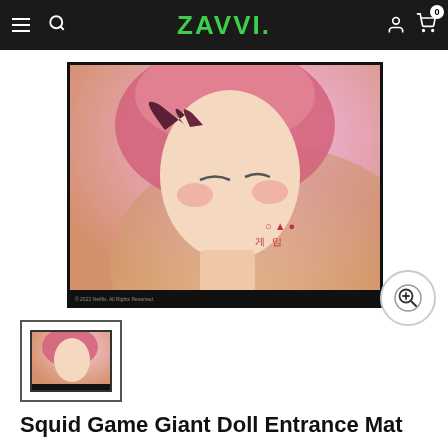ZAVVI. [navigation: hamburger menu, search, user account, cart (0)]
[Figure (photo): Large product image of a framed art piece showing the Squid Game giant doll character (robotic girl with pink hair and dress). Korean text visible: 오징어 게임. The image has a black frame border and shows the doll's face and upper body with a soft pink/cream background.]
[Figure (other): Circular zoom/magnify button icon (plus sign inside magnifying glass circle)]
[Figure (photo): Thumbnail image of the same Squid Game Giant Doll Entrance Mat product — small framed version of the main product image, outlined with a dark selection border.]
Squid Game Giant Doll Entrance Mat